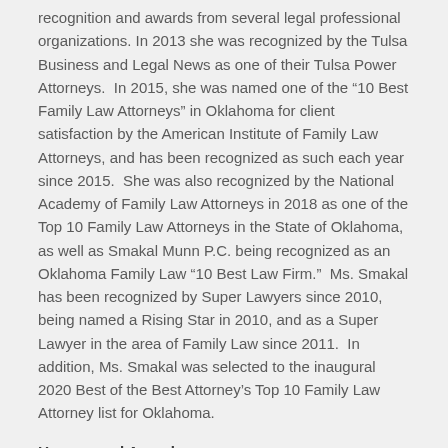recognition and awards from several legal professional organizations. In 2013 she was recognized by the Tulsa Business and Legal News as one of their Tulsa Power Attorneys.  In 2015, she was named one of the ‘10 Best Family Law Attorneys” in Oklahoma for client satisfaction by the American Institute of Family Law Attorneys, and has been recognized as such each year since 2015.  She was also recognized by the National Academy of Family Law Attorneys in 2018 as one of the Top 10 Family Law Attorneys in the State of Oklahoma, as well as Smakal Munn P.C. being recognized as an Oklahoma Family Law ‘10 Best Law Firm.”  Ms. Smakal has been recognized by Super Lawyers since 2010, being named a Rising Star in 2010, and as a Super Lawyer in the area of Family Law since 2011.  In addition, Ms. Smakal was selected to the inaugural 2020 Best of the Best Attorney’s Top 10 Family Law Attorney list for Oklahoma.
Honors and Awards:
Super Lawyers, Rising Star 2010
Super Lawyers, 2011 to current